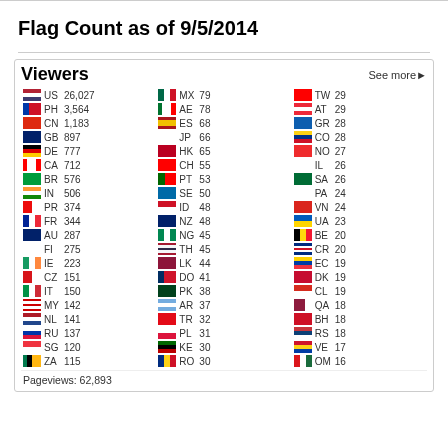Flag Count as of 9/5/2014
[Figure (infographic): Viewers widget showing country flags, country codes, and view counts. US 26,027 PH 3,564 CN 1,183 GB 897 DE 777 CA 712 BR 576 IN 506 PR 374 FR 344 AU 287 FI 275 IE 223 CZ 151 IT 150 MY 142 NL 141 RU 137 SG 120 ZA 115 MX 79 AE 78 ES 68 JP 66 HK 65 CH 55 PT 53 SE 50 ID 48 NZ 48 NG 45 TH 45 LK 44 DO 41 PK 38 AR 37 TR 32 PL 31 KE 30 RO 30 TW 29 AT 29 GR 28 CO 28 NO 27 IL 26 SA 26 PA 24 VN 24 UA 23 BE 20 CR 20 EC 19 DK 19 CL 19 QA 18 BH 18 RS 18 VE 17 OM 16. Pageviews: 62,893]